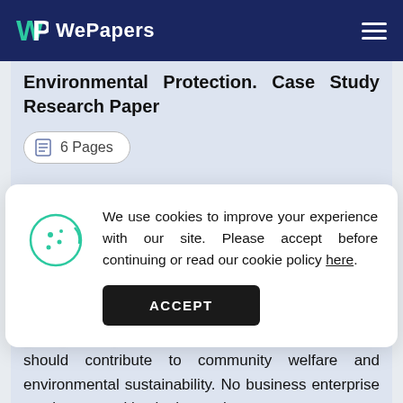WePapers
Environmental Protection. Case Study Research Paper
6 Pages
We use cookies to improve your experience with our site. Please accept before continuing or read our cookie policy here.
ACCEPT
should contribute to community welfare and environmental sustainability. No business enterprise can be competitive in the market